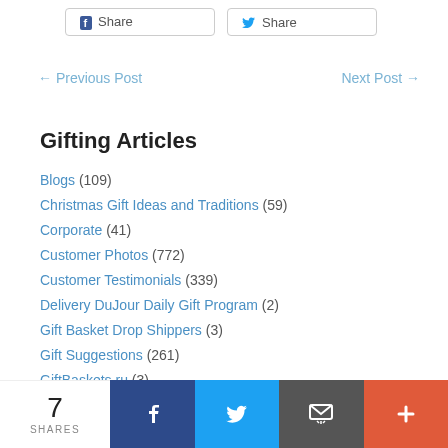[Figure (other): Two social share buttons at the top: Facebook Share and Twitter Share]
← Previous Post    Next Post →
Gifting Articles
Blogs (109)
Christmas Gift Ideas and Traditions (59)
Corporate (41)
Customer Photos (772)
Customer Testimonials (339)
Delivery DuJour Daily Gift Program (2)
Gift Basket Drop Shippers (3)
Gift Suggestions (261)
GiftBaskets.ru (3)
Infographics (11)
[Figure (other): Bottom share bar with count 7 SHARES and buttons for Facebook, Twitter, Email, and More (+)]